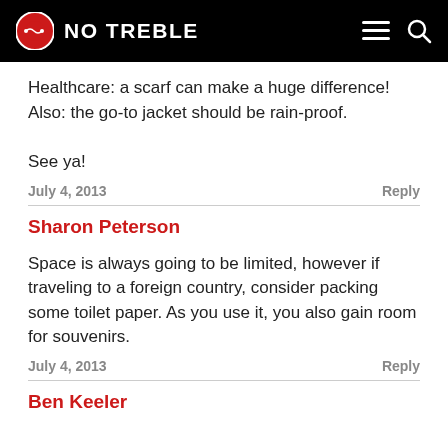NO TREBLE
Healthcare: a scarf can make a huge difference! Also: the go-to jacket should be rain-proof.

See ya!
July 4, 2013   Reply
Sharon Peterson
Space is always going to be limited, however if traveling to a foreign country, consider packing some toilet paper. As you use it, you also gain room for souvenirs.
July 4, 2013   Reply
Ben Keeler